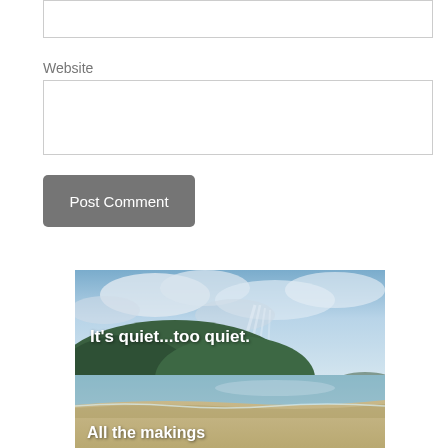Website
[Figure (photo): Beach scene with calm ocean water, forested hillside, dramatic cloudy sky with sun rays. White text overlaid reads 'It's quiet...too quiet.' at top and 'All the makings' at bottom.]